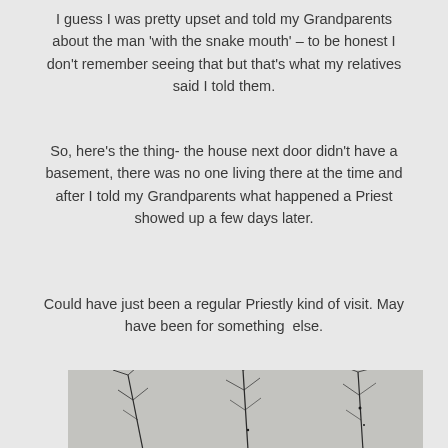I guess I was pretty upset and told my Grandparents about the man 'with the snake mouth'  – to be honest I don't remember seeing that but that's what my relatives said I told them.
So, here's the thing- the house next door didn't have a basement, there was no one living there at the time and after I told my Grandparents what happened a Priest showed up a few days later.
Could have just been a regular Priestly kind of visit. May have been for something  else.
[Figure (photo): Black and white photograph showing thin branch-like markings or scratches on a light concrete or stone surface, resembling bare tree branches or crack patterns.]